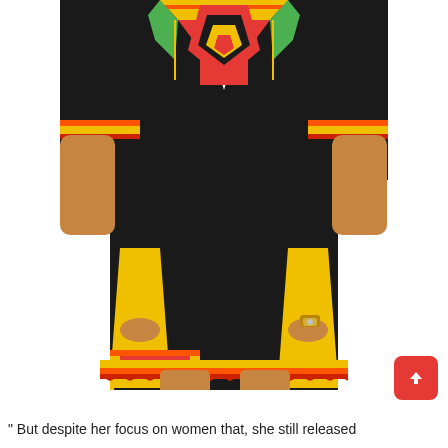[Figure (photo): A woman wearing a black African dashiki dress with colorful traditional patterns in yellow, red, orange, green and pink. The dress has short sleeves with striped trim, two large patch pockets on the lower front with decorative dashiki print, and a v-neck with elaborate tribal embroidery. The hem also features yellow and orange stripe trim. The woman has her hands in the pockets and is wearing a gold watch.]
" But despite her focus on women that, she still released